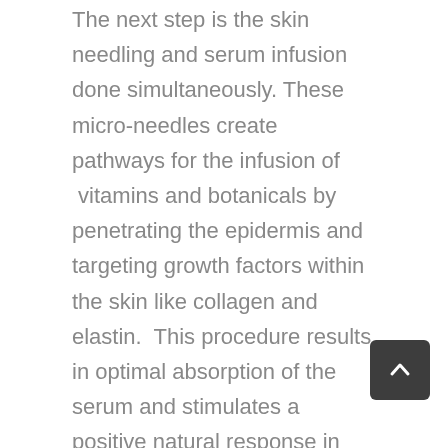The next step is the skin needling and serum infusion done simultaneously. These micro-needles create pathways for the infusion of vitamins and botanicals by penetrating the epidermis and targeting growth factors within the skin like collagen and elastin. This procedure results in optimal absorption of the serum and stimulates a positive natural response in the skin.
Post after care helps reduce inflammation, improve healing and increases skin rejuvenation. The inflammatory response is also a positive one, the blood carries oxygen, nutrients and vitamins to the skin.
Does it hurt and is there downtime?
The downtime differs between clients, there is some redness experienced for the first few days although